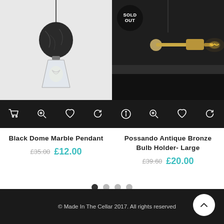[Figure (photo): Black dome marble pendant lamp product image with glass Edison bulb on white background]
[Figure (photo): Possando Antique Bronze Bulb Holder Large on dark background with glowing filament bulb, with SOLD OUT badge overlay]
Black Dome Marble Pendant
£35.00 £12.00
Possando Antique Bronze Bulb Holder- Large
£39.60 £20.00
© Made In The Cellar 2017. All rights reserved